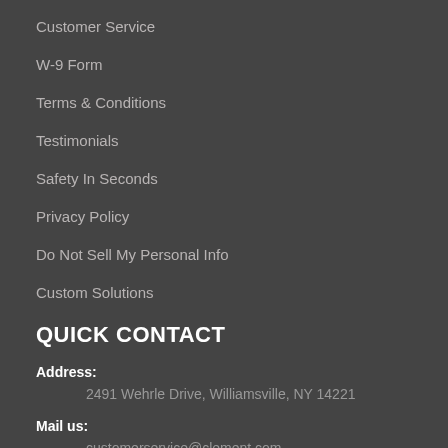Customer Service
W-9 Form
Terms & Conditions
Testimonials
Safety In Seconds
Privacy Policy
Do Not Sell My Personal Info
Custom Solutions
QUICK CONTACT
Address:
2491 Wehrle Drive, Williamsville, NY 14221
Mail us:
customerservice@clement.com
Phone: